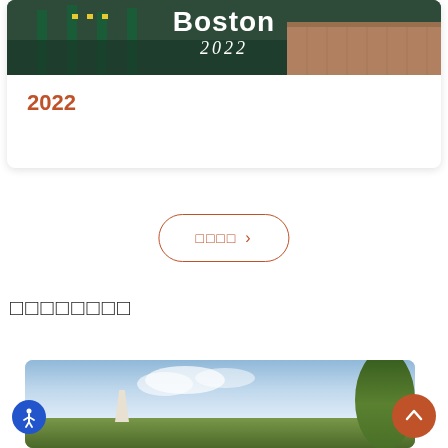[Figure (photo): Boston 2022 header photo showing waterfront area with green pillars, wooden dock, and city scene]
2022
□□□□ ›
□□□□□□□□
[Figure (photo): Outdoor landscape photo with blue sky, clouds, a monument or tower, and green trees on the right]